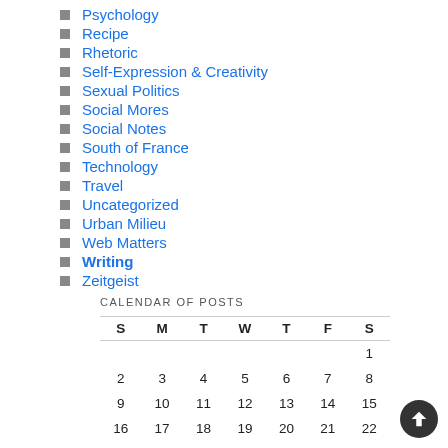Psychology
Recipe
Rhetoric
Self-Expression & Creativity
Sexual Politics
Social Mores
Social Notes
South of France
Technology
Travel
Uncategorized
Urban Milieu
Web Matters
Writing
Zeitgeist
CALENDAR OF POSTS
| S | M | T | W | T | F | S |
| --- | --- | --- | --- | --- | --- | --- |
|  |  |  |  |  |  | 1 |
| 2 | 3 | 4 | 5 | 6 | 7 | 8 |
| 9 | 10 | 11 | 12 | 13 | 14 | 15 |
| 16 | 17 | 18 | 19 | 20 | 21 | 22 |